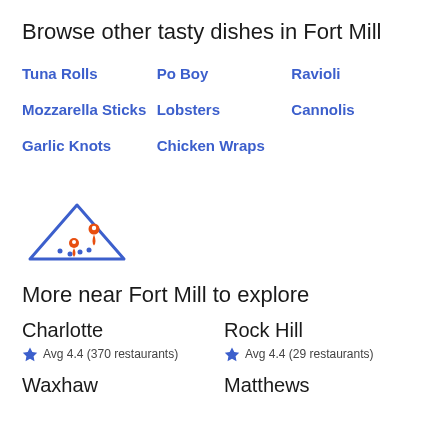Browse other tasty dishes in Fort Mill
Tuna Rolls
Po Boy
Ravioli
Mozzarella Sticks
Lobsters
Cannolis
Garlic Knots
Chicken Wraps
[Figure (illustration): Map icon with two orange location pins on a blue outlined map/mountain shape]
More near Fort Mill to explore
Charlotte
Avg 4.4 (370 restaurants)
Rock Hill
Avg 4.4 (29 restaurants)
Waxhaw
Matthews